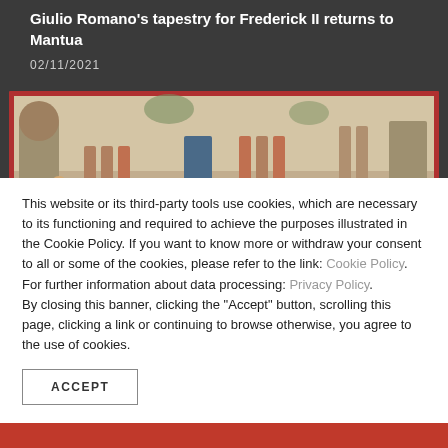Giulio Romano's tapestry for Frederick II returns to Mantua
02/11/2021
[Figure (photo): A wide decorative tapestry with classical architectural columns, figures in Renaissance dress, and mythological scenes. Red border framing the tapestry.]
This website or its third-party tools use cookies, which are necessary to its functioning and required to achieve the purposes illustrated in the Cookie Policy. If you want to know more or withdraw your consent to all or some of the cookies, please refer to the link: Cookie Policy. For further information about data processing: Privacy Policy. By closing this banner, clicking the "Accept" button, scrolling this page, clicking a link or continuing to browse otherwise, you agree to the use of cookies.
ACCEPT